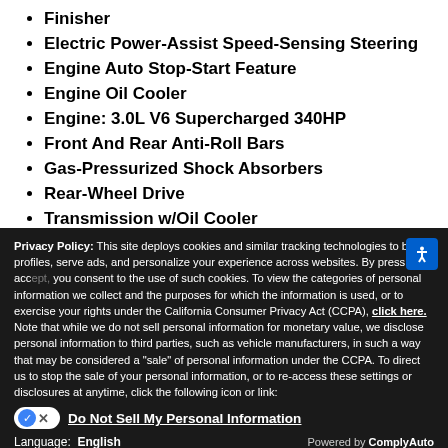Finisher
Electric Power-Assist Speed-Sensing Steering
Engine Auto Stop-Start Feature
Engine Oil Cooler
Engine: 3.0L V6 Supercharged 340HP
Front And Rear Anti-Roll Bars
Gas-Pressurized Shock Absorbers
Rear-Wheel Drive
Transmission w/Oil Cooler
Transmission: 8-Speed QuickShift ZF Automatic
Privacy Policy: This site deploys cookies and similar tracking technologies to build profiles, serve ads, and personalize your experience across websites. By pressing accept, you consent to the use of such cookies. To view the categories of personal information we collect and the purposes for which the information is used, or to exercise your rights under the California Consumer Privacy Act (CCPA), click here. Note that while we do not sell personal information for monetary value, we disclose personal information to third parties, such as vehicle manufacturers, in such a way that may be considered a "sale" of personal information under the CCPA. To direct us to stop the sale of your personal information, or to re-access these settings or disclosures at anytime, click the following icon or link:
Do Not Sell My Personal Information
Language: English
Powered by ComplyAuto
Accept and Continue →
California Privacy Disclosures